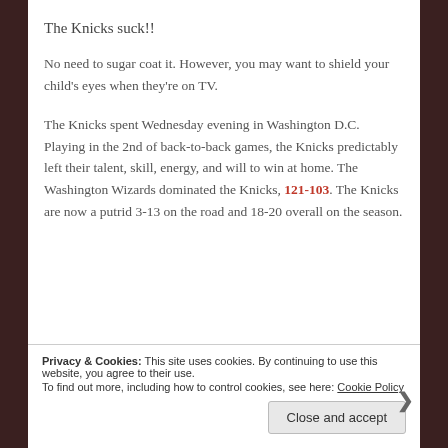The Knicks suck!!
No need to sugar coat it. However, you may want to shield your child's eyes when they're on TV.
The Knicks spent Wednesday evening in Washington D.C. Playing in the 2nd of back-to-back games, the Knicks predictably left their talent, skill, energy, and will to win at home. The Washington Wizards dominated the Knicks, 121-103. The Knicks are now a putrid 3-13 on the road and 18-20 overall on the season.
Privacy & Cookies: This site uses cookies. By continuing to use this website, you agree to their use. To find out more, including how to control cookies, see here: Cookie Policy
Close and accept